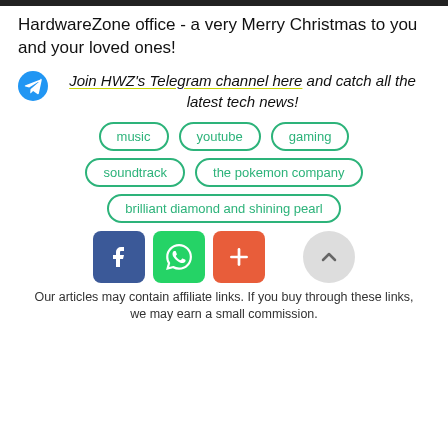HardwareZone office - a very Merry Christmas to you and your loved ones!
Join HWZ's Telegram channel here and catch all the latest tech news!
music
youtube
gaming
soundtrack
the pokemon company
brilliant diamond and shining pearl
[Figure (infographic): Social share buttons: Facebook (blue), WhatsApp (green), More/plus (orange-red), and a back-to-top circular button (grey)]
Our articles may contain affiliate links. If you buy through these links, we may earn a small commission.